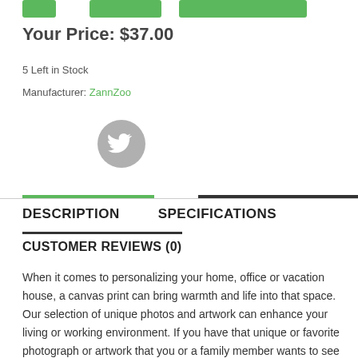[Figure (other): Green add-to-cart and action buttons at top of product page]
Your Price: $37.00
5 Left in Stock
Manufacturer: ZannZoo
[Figure (logo): Twitter bird icon in grey circle]
DESCRIPTION
SPECIFICATIONS
CUSTOMER REVIEWS (0)
When it comes to personalizing your home, office or vacation house, a canvas print can bring warmth and life into that space. Our selection of unique photos and artwork can enhance your living or working environment. If you have that unique or favorite photograph or artwork that you or a family member wants to see it come alive as a canvas print, upload it to our custom print area of our website and use it to bring a personal touch to your home or office. We use